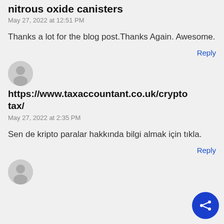nitrous oxide canisters
May 27, 2022 at 12:51 PM
Thanks a lot for the blog post.Thanks Again. Awesome.
Reply
https://www.taxaccountant.co.uk/crypto
tax/
May 27, 2022 at 2:35 PM
Sen de kripto paralar hakkında bilgi almak için tıkla.
Reply